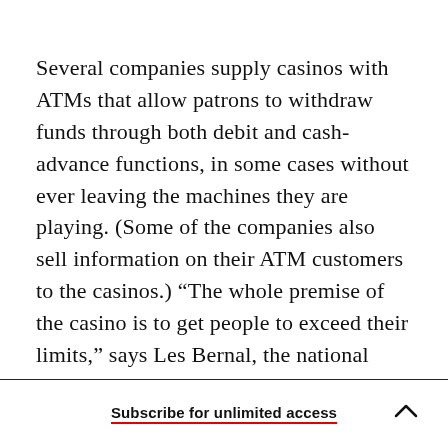Several companies supply casinos with ATMs that allow patrons to withdraw funds through both debit and cash-advance functions, in some cases without ever leaving the machines they are playing. (Some of the companies also sell information on their ATM customers to the casinos.) “The whole premise of the casino is to get people to exceed their limits,” says Les Bernal, the national director of the advocacy organization Stop Predatory Gambling. “If you’re using the casino ATM, it’s like painting yourself orange.”
Subscribe for unlimited access